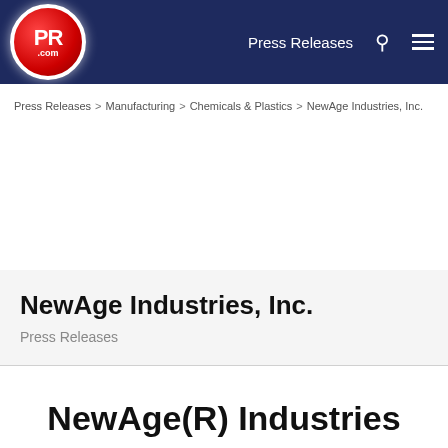PR.com — Press Releases
Press Releases > Manufacturing > Chemicals & Plastics > NewAge Industries, Inc.
NewAge Industries, Inc.
Press Releases
NewAge(R) Industries